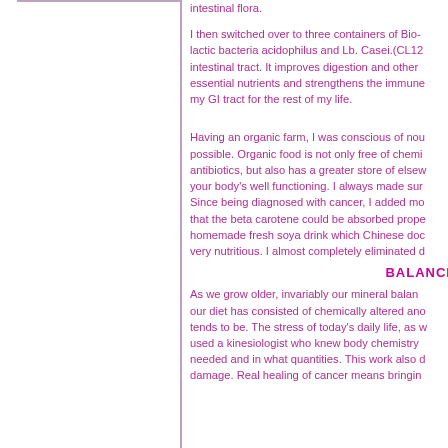intestinal flora.
I then switched over to three containers of Bio- lactic bacteria acidophilus and Lb. Casei.(CL12 intestinal tract. It improves digestion and other essential nutrients and strengthens the immune my GI tract for the rest of my life.
Having an organic farm, I was conscious of nou possible. Organic food is not only free of chemi antibiotics, but also has a greater store of elsew your body's well functioning. I always made sur Since being diagnosed with cancer, I added mo that the beta carotene could be absorbed prope homemade fresh soya drink which Chinese doc very nutritious. I almost completely eliminated d
BALANCE
As we grow older, invariably our mineral balan our diet has consisted of chemically altered ano tends to be. The stress of today's daily life, as w used a kinesiologist who knew body chemistry needed and in what quantities. This work also d damage. Real healing of cancer means bringin